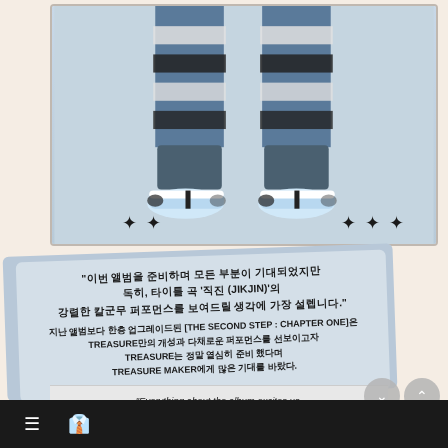[Figure (photo): Photo of a person's legs from the knees down, wearing wide-leg jeans with bold black/white horizontal stripe pattern leg warmers over them, and light blue/white Nike Air Jordan 1 sneakers, standing on a light gray background. Sparkle/star decorations visible in bottom corners of the photo border.]
"이번 앨범을 준비하며 모든 부분이 기대되었지만 독히, 타이틀 곡 '직진 (JIKJIN)'의 강렬한 칼군무 퍼포먼스를 보여드릴 생각에 가장 설렙니다."
지난 앨범보다 한층 업그레이드된 [THE SECOND STEP : CHAPTER ONE]은 TREASURE만의 개성과 다채로운 퍼포먼스를 선보이고자 TREASURE는 정말 열심히 준비 했다며 TREASURE MAKER에게 많은 기대를 바랐다.
"Everything about the album excites us,